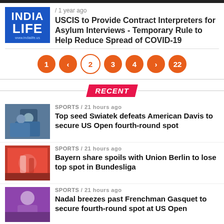[Figure (logo): India Life logo - blue background with white text]
/ 1 year ago
USCIS to Provide Contract Interpreters for Asylum Interviews - Temporary Rule to Help Reduce Spread of COVID-19
[Figure (infographic): Pagination: 1, <, 2 (active), 3, 4, >, 22]
RECENT
[Figure (photo): Two people standing together outdoors]
SPORTS / 21 hours ago
Top seed Swiatek defeats American Davis to secure US Open fourth-round spot
[Figure (photo): Soccer player on the field]
SPORTS / 21 hours ago
Bayern share spoils with Union Berlin to lose top spot in Bundesliga
[Figure (photo): Tennis player in action]
SPORTS / 21 hours ago
Nadal breezes past Frenchman Gasquet to secure fourth-round spot at US Open